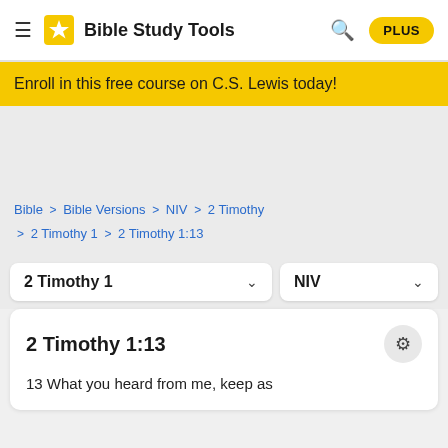Bible Study Tools  PLUS
Enroll in this free course on C.S. Lewis today!
Bible > Bible Versions > NIV > 2 Timothy > 2 Timothy 1 > 2 Timothy 1:13
2 Timothy 1  NIV
2 Timothy 1:13
13 What you heard from me, keep as